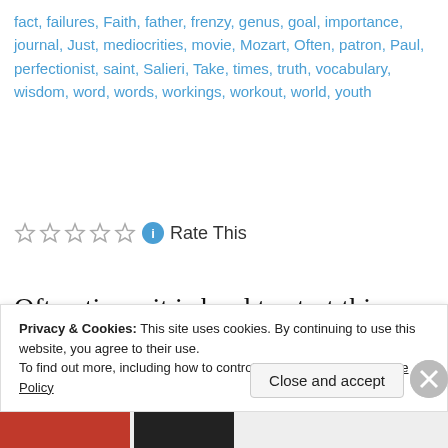fact, failures, Faith, father, frenzy, genus, goal, importance, journal, Just, mediocrities, movie, Mozart, Often, patron, Paul, perfectionist, saint, Salieri, Take, times, truth, vocabulary, wisdom, word, words, workings, workout, world, youth
[Figure (other): Star rating widget with 5 empty stars, an info icon, and 'Rate This' label]
Often times it is hard to start this blog, I am not sure what to talk about and sometimes I am not sure if it really matters all that much. But as I have stated several times in the past, this blog is more a benefit to me than to others. This blog
Privacy & Cookies: This site uses cookies. By continuing to use this website, you agree to their use.
To find out more, including how to control cookies, see here: Cookie Policy
Close and accept